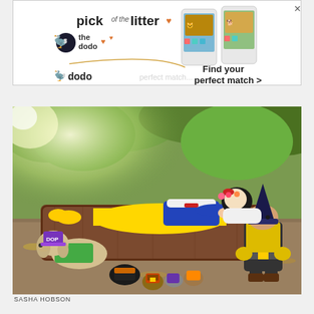[Figure (screenshot): Advertisement banner for 'pick of the litter' by The Dodo. Contains dodo bird logo, two hearts, phone mockup images with dogs, and text 'Find your perfect match >']
[Figure (photo): Outdoor photo of a woman dressed as Snow White lying on a wooden prop bed/coffin, surrounded by dogs and small animals dressed as the Seven Dwarfs. Background shows trees and sunlit grass.]
SASHA HOBSON